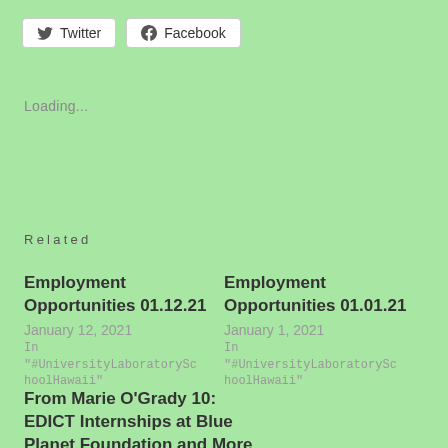[Figure (other): Twitter and Facebook share buttons]
Loading...
Related
Employment Opportunities 01.12.21
January 12, 2021
In "#UniversityLaboratorySchoolHawaii"
Employment Opportunities 01.01.21
January 1, 2021
In "#UniversityLaboratorySchoolHawaii"
From Marie O'Grady 10: EDICT Internships at Blue Planet Foundation and More
February 2, 2022